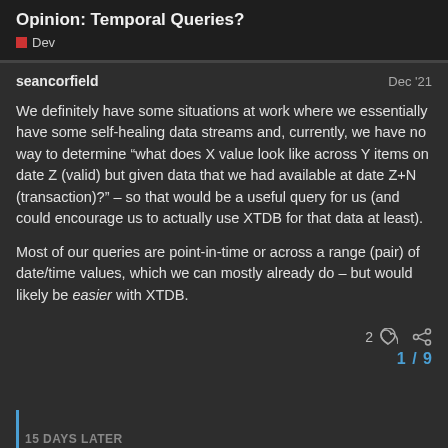Opinion: Temporal Queries?
Dev
seancorfield
Dec '21
We definitely have some situations at work where we essentially have some self-healing data streams and, currently, we have no way to determine “what does X value look like across Y items on date Z (valid) but given data that we had available at date Z+N (transaction)?” – so that would be a useful query for us (and could encourage us to actually use XTDB for that data at least).
Most of our queries are point-in-time or across a range (pair) of date/time values, which we can mostly already do – but would likely be easier with XTDB.
2
1 / 9
15 DAYS LATER